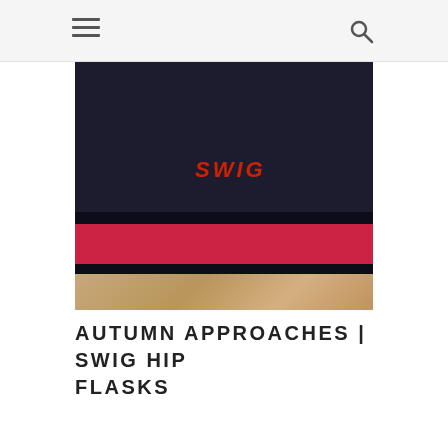[Figure (photo): Close-up photo of stacked SWIG branded gift boxes. The top box is dark navy/black with a red SWIG logo in bold italic text. A red/pink layer is visible between the dark boxes. The boxes rest on a wooden surface.]
AUTUMN APPROACHES | SWIG HIP FLASKS